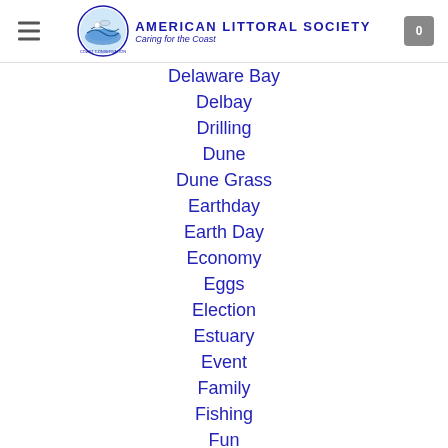American Littoral Society — Caring for the Coast
Delaware Bay
Delbay
Drilling
Dune
Dune Grass
Earthday
Earth Day
Economy
Eggs
Election
Estuary
Event
Family
Fishing
Fun
Global Warming
Horseshoe Crab
Jamaicabay